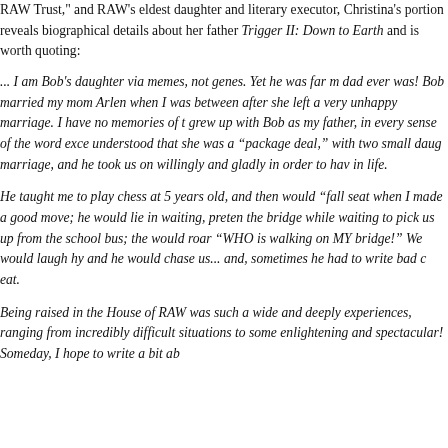RAW Trust," and RAW's eldest daughter and literary executor, Christina's portion reveals biographical details about her father Trigger II: Down to Earth and is worth quoting:
... I am Bob's daughter via memes, not genes. Yet he was far more my dad ever was! Bob married my mom Arlen when I was between after she left a very unhappy marriage. I have no memories of grew up with Bob as my father, in every sense of the word exce understood that she was a “package deal,” with two small daug marriage, and he took us on willingly and gladly in order to hav in life.
He taught me to play chess at 5 years old, and then would “fall seat when I made a good move; he would lie in waiting, preten the bridge while waiting to pick us up from the school bus; then would roar “WHO is walking on MY bridge!” We would laugh hy and he would chase us... and, sometimes he had to write bad c eat.
Being raised in the House of RAW was such a wide and deeply experiences, ranging from incredibly difficult situations to some enlightening and spectacular! Someday, I hope to write a bit ab